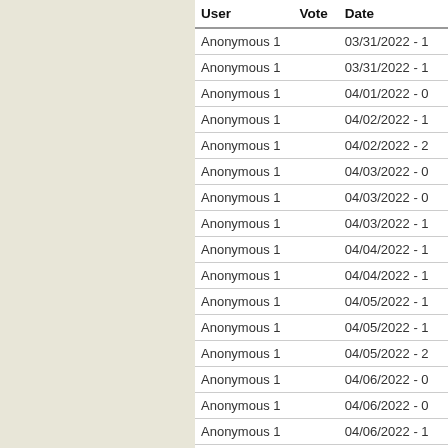| User | Vote | Date |
| --- | --- | --- |
| Anonymous 1 |  | 03/31/2022 - 1 |
| Anonymous 1 |  | 03/31/2022 - 1 |
| Anonymous 1 |  | 04/01/2022 - 0 |
| Anonymous 1 |  | 04/02/2022 - 1 |
| Anonymous 1 |  | 04/02/2022 - 2 |
| Anonymous 1 |  | 04/03/2022 - 0 |
| Anonymous 1 |  | 04/03/2022 - 0 |
| Anonymous 1 |  | 04/03/2022 - 1 |
| Anonymous 1 |  | 04/04/2022 - 1 |
| Anonymous 1 |  | 04/04/2022 - 1 |
| Anonymous 1 |  | 04/05/2022 - 1 |
| Anonymous 1 |  | 04/05/2022 - 1 |
| Anonymous 1 |  | 04/05/2022 - 2 |
| Anonymous 1 |  | 04/06/2022 - 0 |
| Anonymous 1 |  | 04/06/2022 - 0 |
| Anonymous 1 |  | 04/06/2022 - 1 |
| Anonymous 1 |  | 04/06/2022 - 2 |
| Anonymous 1 |  | 04/07/2022 - 0 |